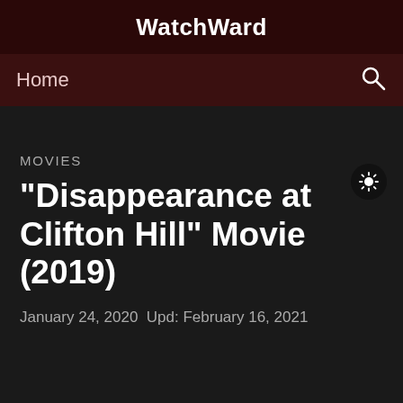WatchWard
Home
MOVIES
"Disappearance at Clifton Hill" Movie (2019)
January 24, 2020  Upd: February 16, 2021